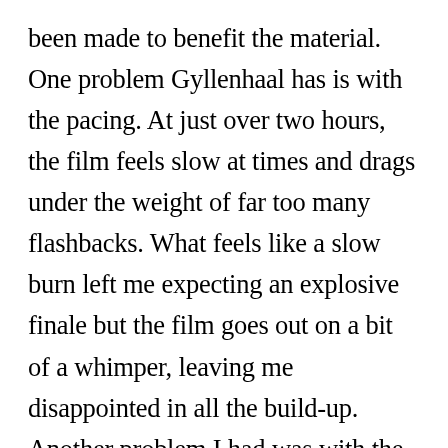been made to benefit the material. One problem Gyllenhaal has is with the pacing. At just over two hours, the film feels slow at times and drags under the weight of far too many flashbacks. What feels like a slow burn left me expecting an explosive finale but the film goes out on a bit of a whimper, leaving me disappointed in all the build-up. Another problem I had was with the score, which several tracks didn't feel like they went with what was unfolding onscreen at all. This often gives a jarring, distracting mood to the viewer. That being said, there is still a fair amount to